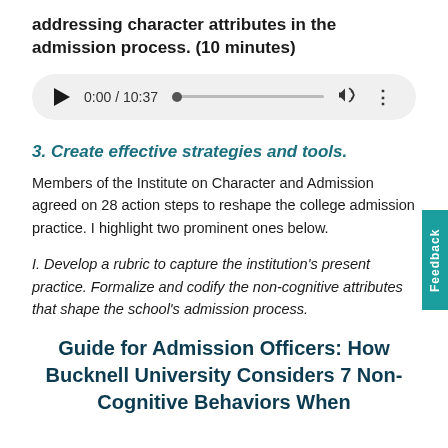addressing character attributes in the admission process. (10 minutes)
[Figure (other): Audio player showing 0:00 / 10:37 with play button, progress bar, volume and menu icons]
3. Create effective strategies and tools.
Members of the Institute on Character and Admission agreed on 28 action steps to reshape the college admission practice. I highlight two prominent ones below.
I. Develop a rubric to capture the institution's present practice. Formalize and codify the non-cognitive attributes that shape the school's admission process.
Guide for Admission Officers: How Bucknell University Considers 7 Non-Cognitive Behaviors When